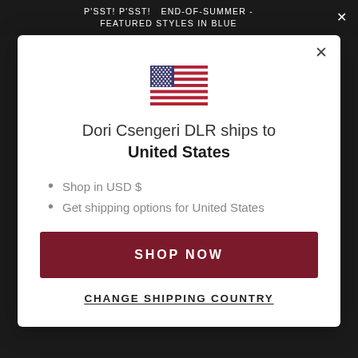P'SST! P'SST! END-OF-SUMMER - FEATURED STYLES IN BLUE
[Figure (illustration): US flag emoji/icon]
Dori Csengeri DLR ships to United States
Shop in USD $
Get shipping options for United States
SHOP NOW
CHANGE SHIPPING COUNTRY